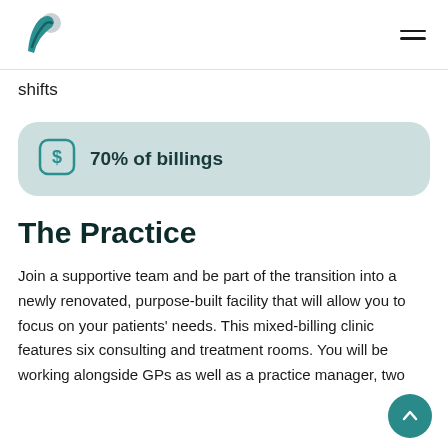shifts
70% of billings
The Practice
Join a supportive team and be part of the transition into a newly renovated, purpose-built facility that will allow you to focus on your patients' needs. This mixed-billing clinic features six consulting and treatment rooms. You will be working alongside GPs as well as a practice manager, two